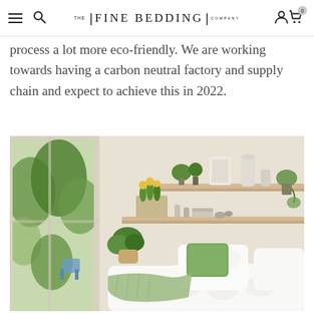THE | FINE BEDDING | COMPANY
process a lot more eco-friendly. We are working towards having a carbon neutral factory and supply chain and expect to achieve this in 2022.
[Figure (photo): Bright bedroom scene with white bedding, green accent pillow, plants on floating wooden shelves, and a large window with a garden view.]